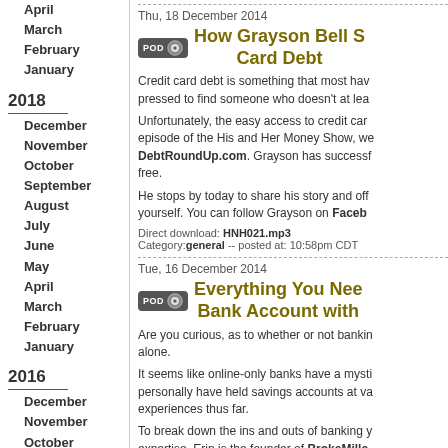April
March
February
January
2018
December
November
October
September
August
July
June
May
April
March
February
January
2016
December
November
October
September
August
July
June
May
April
March
February
January
Thu, 18 December 2014
How Grayson Bell S... Card Debt
Credit card debt is something that most have... pressed to find someone who doesn't at lea...
Unfortunately, the easy access to credit car... episode of the His and Her Money Show, we... DebtRoundUp.com. Grayson has successf... free.
He stops by today to share his story and off... yourself. You can follow Grayson on Facebo...
Direct download: HNH021.mp3
Category:general -- posted at: 10:58pm CDT
Tue, 16 December 2014
Everything You Nee... Bank Account with...
Are you curious, as to whether or not bankin... alone.
It seems like online-only banks have a mysti... personally have held savings accounts at va... experiences thus far.
To break down the ins and outs of banking y... expertise. Erin is the founder of BrokeMille... financial concepts to her fellow millennials. E...